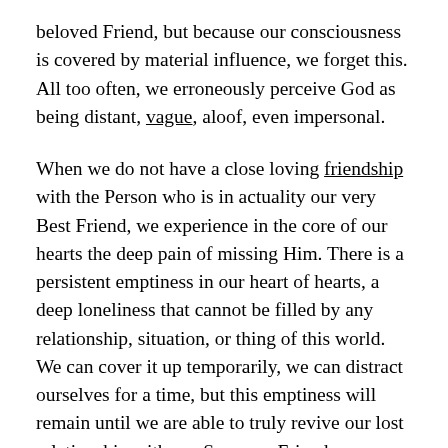beloved Friend, but because our consciousness is covered by material influence, we forget this. All too often, we erroneously perceive God as being distant, vague, aloof, even impersonal.
When we do not have a close loving friendship with the Person who is in actuality our very Best Friend, we experience in the core of our hearts the deep pain of missing Him. There is a persistent emptiness in our heart of hearts, a deep loneliness that cannot be filled by any relationship, situation, or thing of this world. We can cover it up temporarily, we can distract ourselves for a time, but this emptiness will remain until we are able to truly revive our lost relationship with our Supreme Friend.
So how can we revive this lost relationship with God? How can we again have a close and loving